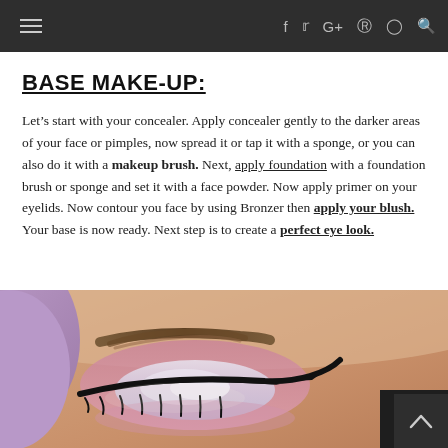f  t  G+  p  o  Q  ☰
BASE MAKE-UP:
Let's start with your concealer. Apply concealer gently to the darker areas of your face or pimples, now spread it or tap it with a sponge, or you can also do it with a makeup brush. Next, apply foundation with a foundation brush or sponge and set it with a face powder. Now apply primer on your eyelids. Now contour you face by using Bronzer then apply your blush. Your base is now ready. Next step is to create a perfect eye look.
[Figure (photo): Close-up photo of a woman's eye with colorful pastel eyeshadow (pink, white/silver glitter), bold black winged eyeliner, and a well-defined brow. Hair has lavender/purple tones.]